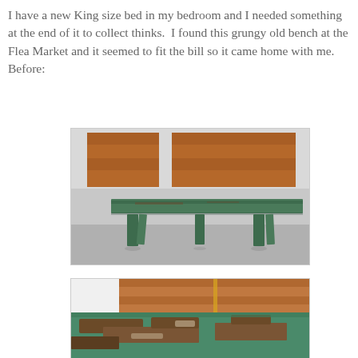I have a new King size bed in my bedroom and I needed something at the end of it to collect thinks.  I found this grungy old bench at the Flea Market and it seemed to fit the bill so it came home with me.
Before:
[Figure (photo): A long old wooden bench with green peeling paint, photographed in a garage or outdoor setting with wooden shutters/panels visible in the background. The bench has four legs and a flat top surface.]
[Figure (photo): Close-up photo of the top surface of the old bench showing heavily chipped and peeling green paint revealing bare wood underneath, with wooden shutters visible in the background.]